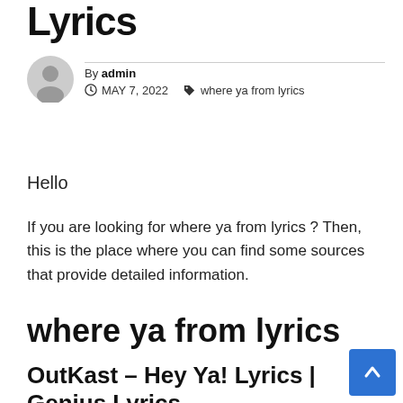Lyrics
By admin  MAY 7, 2022  where ya from lyrics
Hello
If you are looking for where ya from lyrics ? Then, this is the place where you can find some sources that provide detailed information.
where ya from lyrics
OutKast – Hey Ya! Lyrics | Genius Lyrics